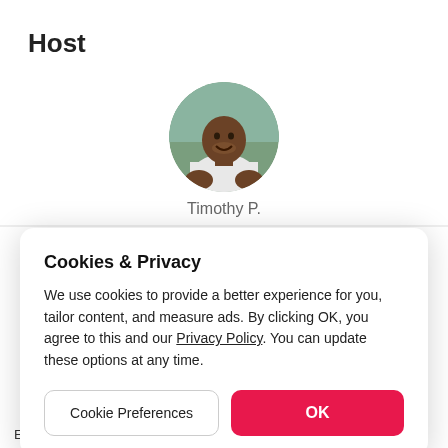Host
[Figure (photo): Circular profile photo of Timothy P., a man wearing a white shirt, smiling, with a blurred outdoor background.]
Timothy P.
Cookies & Privacy
We use cookies to provide a better experience for you, tailor content, and measure ads. By clicking OK, you agree to this and our Privacy Policy. You can update these options at any time.
Cookie Preferences
OK
Every Guest will have Sanitizer and Mask available